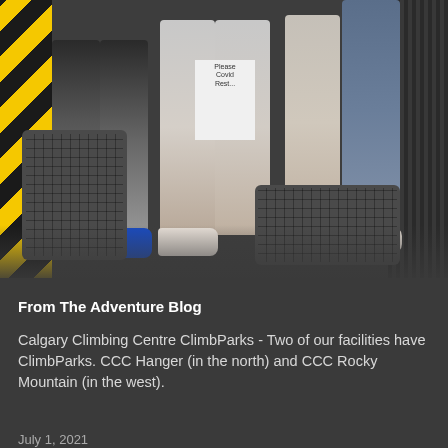[Figure (photo): Photo showing legs and feet of multiple people standing near equipment baskets/crates at a climbing centre. Yellow and black hazard stripes visible on the left wall. People wearing shorts and blue sneakers.]
From The Adventure Blog
Calgary Climbing Centre ClimbParks - Two of our facilities have ClimbParks. CCC Hanger (in the north) and CCC Rocky Mountain (in the west).
July 1, 2021